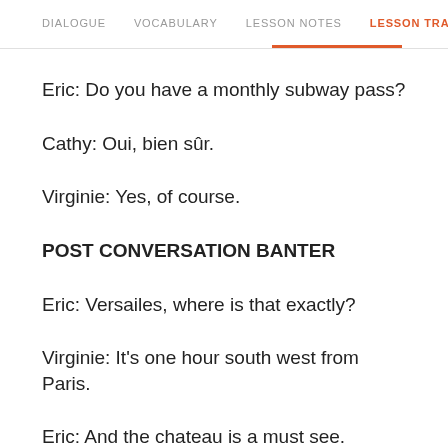DIALOGUE   VOCABULARY   LESSON NOTES   LESSON TRANSCRIPT   C
Eric: Do you have a monthly subway pass?
Cathy: Oui, bien sûr.
Virginie: Yes, of course.
POST CONVERSATION BANTER
Eric: Versailes, where is that exactly?
Virginie: It's one hour south west from Paris.
Eric: And the chateau is a must see.
Virginie: Of course. And there is something really fun to do in the Chateau, and...